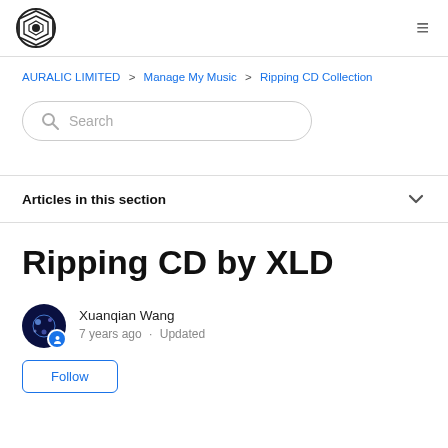[Figure (logo): Auralic logo: circular geometric badge with octagonal shape and inner diamond pattern]
AURALIC LIMITED > Manage My Music > Ripping CD Collection
Search
Articles in this section
Ripping CD by XLD
Xuanqian Wang
7 years ago · Updated
Follow